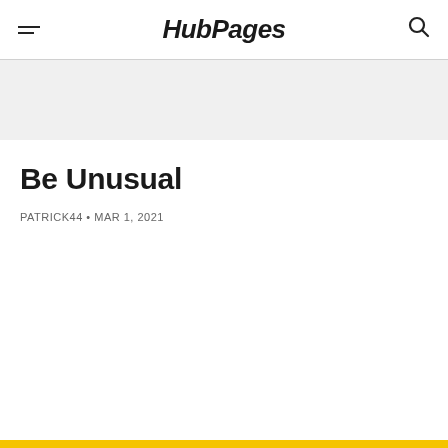HubPages
Be Unusual
PATRICK44 • MAR 1, 2021